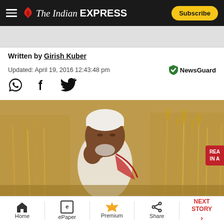The Indian Express — Subscribe
Written by Girish Kuber
Updated: April 19, 2016 12:43:48 pm
[Figure (photo): An elderly Indian farmer wearing a white cap and white kurta with a red cloth on his shoulder, sitting in a dry crop field, holding his hand to his face in apparent distress. The field shows dry, withered crop stalks.]
Home | ePaper | Premium | Share | NEXT STORY